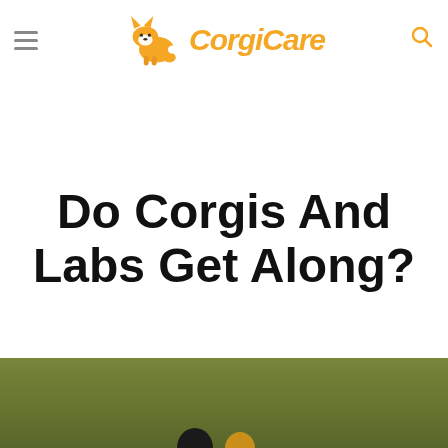CorgiCare
Do Corgis And Labs Get Along?
[Figure (photo): Photo of dogs (corgi and lab) outdoors on grass, partially visible at bottom of page]